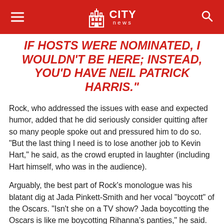CITY news
IF HOSTS WERE NOMINATED, I WOULDN'T BE HERE; INSTEAD, YOU'D HAVE NEIL PATRICK HARRIS."
Rock, who addressed the issues with ease and expected humor, added that he did seriously consider quitting after so many people spoke out and pressured him to do so. “But the last thing I need is to lose another job to Kevin Hart,” he said, as the crowd erupted in laughter (including Hart himself, who was in the audience).
Arguably, the best part of Rock’s monologue was his blatant dig at Jada Pinkett-Smith and her vocal “boycott” of the Oscars. “Isn’t she on a TV show? Jada boycotting the Oscars is like me boycotting Rihanna’s panties,” he said.